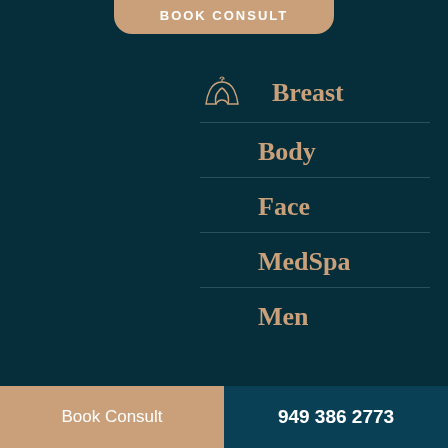BOOK CONSULT
Breast
Body
Face
MedSpa
Men
Book Consult
949 386 2773